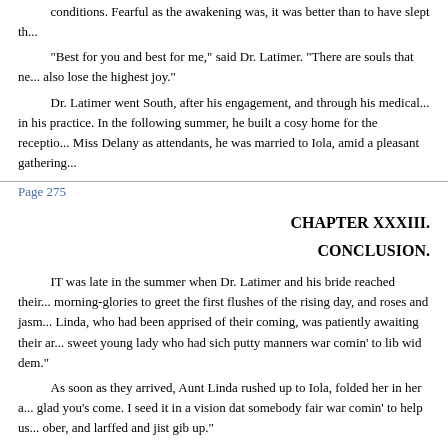conditions. Fearful as the awakening was, it was better than to have slept th...
"Best for you and best for me," said Dr. Latimer. "There are souls that ne... also lose the highest joy."
Dr. Latimer went South, after his engagement, and through his medical... in his practice. In the following summer, he built a cosy home for the receptio... Miss Delany as attendants, he was married to Iola, amid a pleasant gathering...
Page 275
CHAPTER XXXIII.
CONCLUSION.
IT was late in the summer when Dr. Latimer and his bride reached their... morning-glories to greet the first flushes of the rising day, and roses and jasm... Linda, who had been apprised of their coming, was patiently awaiting their ar... sweet young lady who had sich putty manners war comin' to lib wid dem."
As soon as they arrived, Aunt Linda rushed up to Iola, folded her in her a... glad you's come. I seed it in a vision dat somebody fair war comin' to help us... ober, and larffed and jist gib up."
"But, Aunt Linda, I am not very fair," replied Mrs. Latimer.
"Well, chile, you's fair to me. How's all yore folks in de up kentry?"
"All well. I expect them down soon to live here."
"What, Har'yet, and Robby, an' yer ma? Oh, dat is too good. I allers sai...